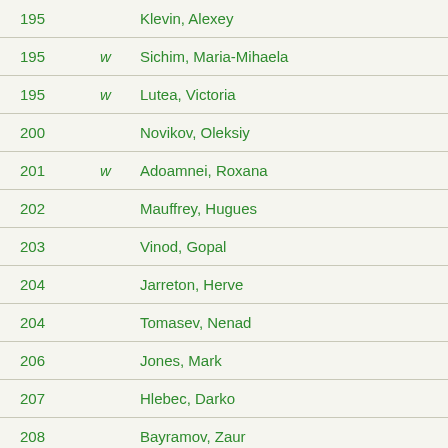| Rank | Flag | Name |
| --- | --- | --- |
| 195 |  | Klevin, Alexey |
| 195 | w | Sichim, Maria-Mihaela |
| 195 | w | Lutea, Victoria |
| 200 |  | Novikov, Oleksiy |
| 201 | w | Adoamnei, Roxana |
| 202 |  | Mauffrey, Hugues |
| 203 |  | Vinod, Gopal |
| 204 |  | Jarreton, Herve |
| 204 |  | Tomasev, Nenad |
| 206 |  | Jones, Mark |
| 207 |  | Hlebec, Darko |
| 208 |  | Bayramov, Zaur |